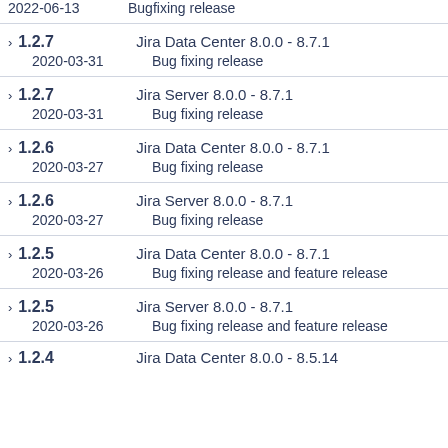2022-06-13    Bugfixing release
> 1.2.7    Jira Data Center 8.0.0 - 8.7.1    2020-03-31    Bug fixing release
> 1.2.7    Jira Server 8.0.0 - 8.7.1    2020-03-31    Bug fixing release
> 1.2.6    Jira Data Center 8.0.0 - 8.7.1    2020-03-27    Bug fixing release
> 1.2.6    Jira Server 8.0.0 - 8.7.1    2020-03-27    Bug fixing release
> 1.2.5    Jira Data Center 8.0.0 - 8.7.1    2020-03-26    Bug fixing release and feature release
> 1.2.5    Jira Server 8.0.0 - 8.7.1    2020-03-26    Bug fixing release and feature release
> 1.2.4    Jira Data Center 8.0.0 - 8.5.14